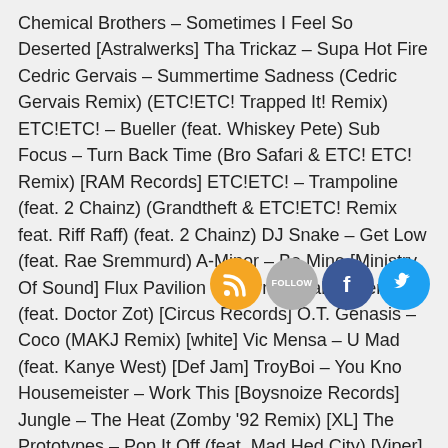Chemical Brothers – Sometimes I Feel So Deserted [Astralwerks] Tha Trickaz – Supa Hot Fire Cedric Gervais – Summertime Sadness (Cedric Gervais Remix) (ETC!ETC! Trapped It! Remix) ETC!ETC! – Bueller (feat. Whiskey Pete) Sub Focus – Turn Back Time (Bro Safari & ETC! ETC! Remix) [RAM Records] ETC!ETC! – Trampoline (feat. 2 Chainz) (Grandtheft & ETC!ETC! Remix feat. Riff Raff) (feat. 2 Chainz) DJ Snake – Get Low (feat. Rae Sremmurd) A-Minor – Be Mine [Ministry Of Sound] Flux Pavilion – International Anthem (feat. Doctor Zot) [Circus Records] O.T. Genasis – Coco (MAKJ Remix) [white] Vic Mensa – U Mad (feat. Kanye West) [Def Jam] TroyBoi – You Kno Housemeister – Work This [Boysnoize Records] Jungle – The Heat (Zomby '92 Remix) [XL] The Prototypes – Pop It Off (feat. Mad Hed City) [Viper] Shenoda – Mancs
[Figure (infographic): Four social media icon circles: RSS (orange), Follow (gray with text FOLLOW), Facebook (blue with f), Twitter (blue with bird)]